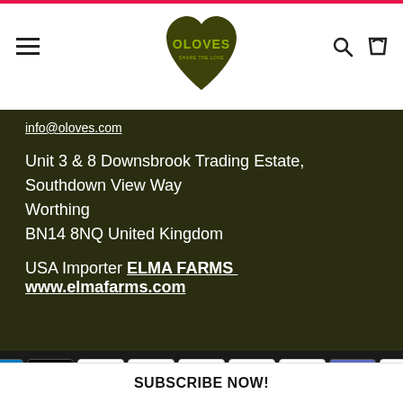[Figure (logo): Oloves brand logo - dark olive green heart shape with 'OLOVES' text and 'SHARE THE LOVE' tagline]
info@oloves.com
Unit 3 & 8 Downsbrook Trading Estate, Southdown View Way
Worthing
BN14 8NQ United Kingdom
USA Importer ELMA FARMS  www.elmafarms.com
[Figure (infographic): Payment method icons: American Express, Apple Pay, Diners Club, Discover, Google Pay, Maestro, Mastercard, Shopify Pay, Visa]
Website By Original Box
SUBSCRIBE NOW!